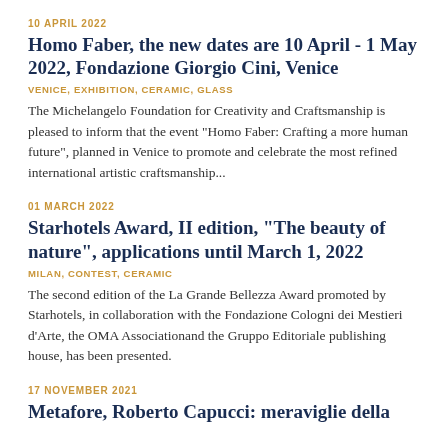10 APRIL 2022
Homo Faber, the new dates are 10 April - 1 May 2022, Fondazione Giorgio Cini, Venice
VENICE, EXHIBITION, CERAMIC, GLASS
The Michelangelo Foundation for Creativity and Craftsmanship is pleased to inform that the event "Homo Faber: Crafting a more human future", planned in Venice to promote and celebrate the most refined international artistic craftsmanship...
01 MARCH 2022
Starhotels Award, II edition, "The beauty of nature", applications until March 1, 2022
MILAN, CONTEST, CERAMIC
The second edition of the La Grande Bellezza Award promoted by Starhotels, in collaboration with the Fondazione Cologni dei Mestieri d'Arte, the OMA Associationand the Gruppo Editoriale publishing house, has been presented.
17 NOVEMBER 2021
Metafore, Roberto Capucci: meraviglie della